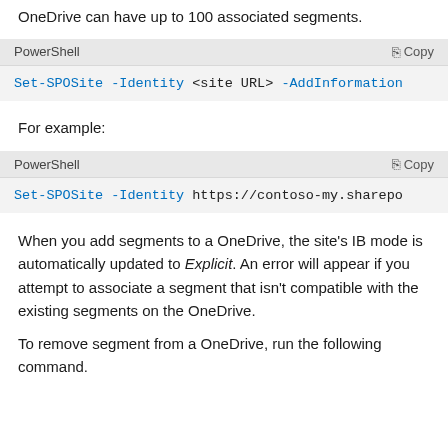OneDrive can have up to 100 associated segments.
[Figure (screenshot): PowerShell code box with header showing 'PowerShell' and 'Copy' button. Code: Set-SPOSite -Identity <site URL> -AddInformation...]
For example:
[Figure (screenshot): PowerShell code box with header showing 'PowerShell' and 'Copy' button. Code: Set-SPOSite -Identity https://contoso-my.sharepo...]
When you add segments to a OneDrive, the site's IB mode is automatically updated to Explicit. An error will appear if you attempt to associate a segment that isn't compatible with the existing segments on the OneDrive.
To remove segment from a OneDrive, run the following command.